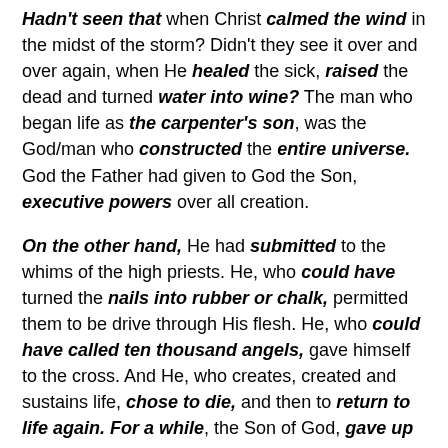Hadn't seen that when Christ calmed the wind in the midst of the storm? Didn't they see it over and over again, when He healed the sick, raised the dead and turned water into wine? The man who began life as the carpenter's son, was the God/man who constructed the entire universe. God the Father had given to God the Son, executive powers over all creation.
On the other hand, He had submitted to the whims of the high priests. He, who could have turned the nails into rubber or chalk, permitted them to be drive through His flesh. He, who could have called ten thousand angels, gave himself to the cross. And He, who creates, created and sustains life, chose to die, and then to return to life again. For a while, the Son of God, gave up His authority, leaving it in the hands of His Father.
But here in this scripture, Christ seems to refer to our scripture. All...